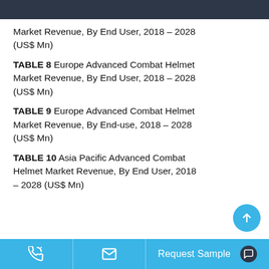Market Revenue, By End User, 2018 – 2028 (US$ Mn)
TABLE 8 Europe Advanced Combat Helmet Market Revenue, By End User, 2018 – 2028 (US$ Mn)
TABLE 9 Europe Advanced Combat Helmet Market Revenue, By End-use, 2018 – 2028 (US$ Mn)
TABLE 10 Asia Pacific Advanced Combat Helmet Market Revenue, By End User, 2018 – 2028 (US$ Mn)
Request Sample